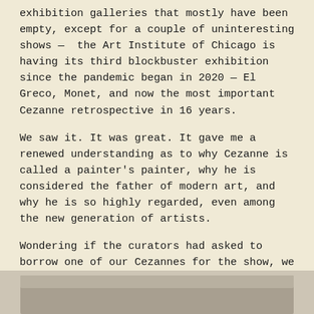exhibition galleries that mostly have been empty, except for a couple of uninteresting shows — the Art Institute of Chicago is having its third blockbuster exhibition since the pandemic began in 2020 — El Greco, Monet, and now the most important Cezanne retrospective in 16 years.
We saw it. It was great. It gave me a renewed understanding as to why Cezanne is called a painter's painter, why he is considered the father of modern art, and why he is so highly regarded, even among the new generation of artists.
Wondering if the curators had asked to borrow one of our Cezannes for the show, we found the answer in the published catalog – a beautiful definitive book aptly titled Cezanne. There in the book on page 154, reproduced on a full page, was our Avenue at Chantilly, Catalog #83 listed for the Chicago show. On the acknowledgement page, among 70 other museums, the Toledo Museum of Art is thanked for making their work available for display in the exhibition.
[Figure (photo): Bottom strip showing the top portion of an image, partially cropped, appears to be a photograph or artwork reproduction.]